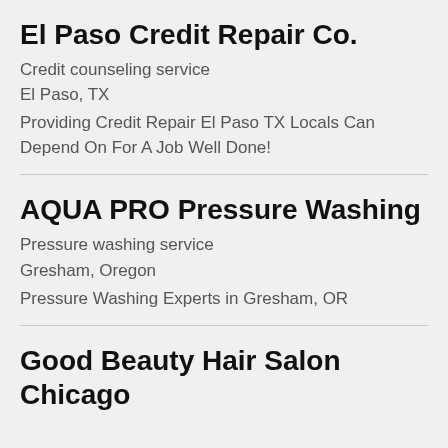El Paso Credit Repair Co.
Credit counseling service
El Paso, TX
Providing Credit Repair El Paso TX Locals Can Depend On For A Job Well Done!
AQUA PRO Pressure Washing
Pressure washing service
Gresham, Oregon
Pressure Washing Experts in Gresham, OR
Good Beauty Hair Salon Chicago